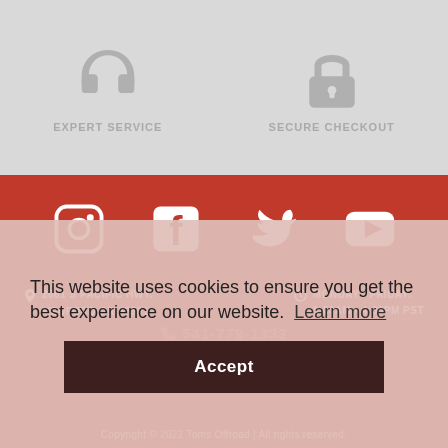[Figure (illustration): Headset / customer service icon in gray]
EXPERT SERVICE
[Figure (illustration): Lock / secure checkout icon in gray]
SECURE CHECKOUT
[Figure (illustration): Instagram icon in white on red background]
[Figure (illustration): Facebook icon in white on red background]
[Figure (illustration): Twitter icon in white on red background]
[Figure (illustration): YouTube icon in white on red background]
2661 S PACIFIC HWY. MEDFORD OR 97501
MONDAY - FRIDAY: 8:00AM - 4:30PM PST
541-779-1333
SHIPPING INFO / PRIVACY POLICY / EASY RETURNS
This website uses cookies to ensure you get the best experience on our website. Learn more
Accept
Copyright © 2022 Toms Offroad | All rights reserved.